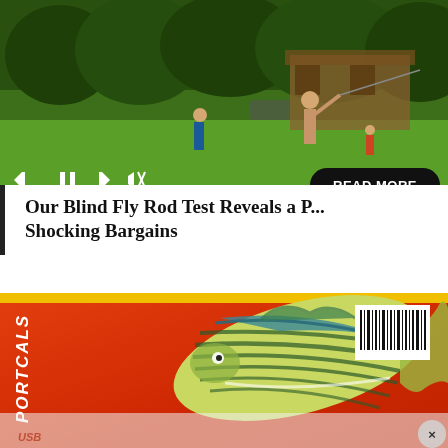[Figure (photo): Outdoor scene with people fly fishing in a green meadow with trees and a building in the background. Media player controls visible at bottom left, and a READ MORE button on the right.]
Our Blind Fly Rod Test Reveals a P... Shocking Bargains
[Figure (photo): Close-up of an orange/red product packaging showing a striped bass fish illustration and a barcode. Text on left side reads PORTCALS. Bottom shows faded fish graphics.]